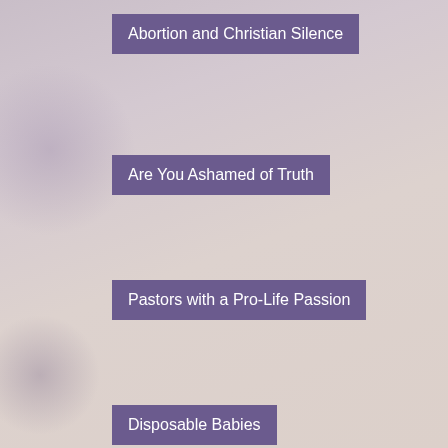Abortion and Christian Silence
Are You Ashamed of Truth
Pastors with a Pro-Life Passion
Disposable Babies
Memorial Statue of the Unborn
The Unashamed Pro-Lifers
Your Decisions, Your Consequences!
Stojan Adasevic
It wasn't just YOU